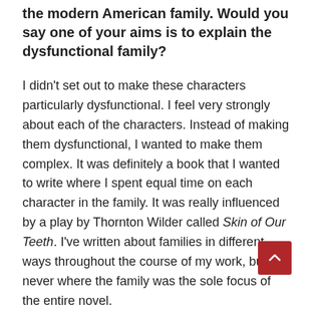The Great Perhaps really takes an intimate look at the modern American family. Would you say one of your aims is to explain the dysfunctional family?
I didn't set out to make these characters particularly dysfunctional. I feel very strongly about each of the characters. Instead of making them dysfunctional, I wanted to make them complex. It was definitely a book that I wanted to write where I spent equal time on each character in the family. It was really influenced by a play by Thornton Wilder called Skin of Our Teeth. I've written about families in different ways throughout the course of my work, but never where the family was the sole focus of the entire novel.
It represents the way that American families exist right